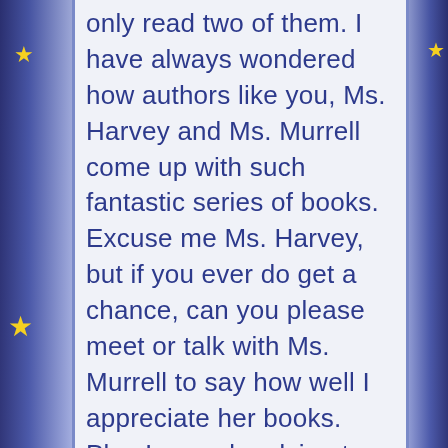only read two of them. I have always wondered how authors like you, Ms. Harvey and Ms. Murrell come up with such fantastic series of books. Excuse me Ms. Harvey, but if you ever do get a chance, can you please meet or talk with Ms. Murrell to say how well I appreciate her books. Plus I was also dying to ask you are you currently writing another Alice-Miranda